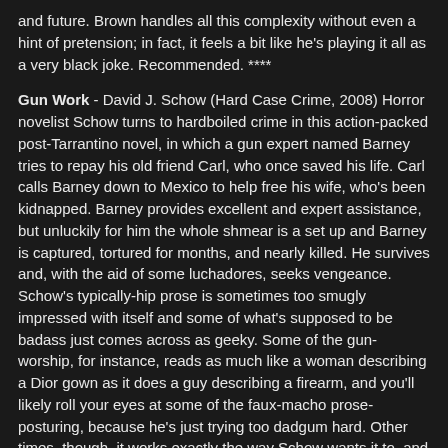and future. Brown handles all this complexity without even a hint of pretension; in fact, it feels a bit like he's playing it all as a very black joke. Recommended. ****
Gun Work - David J. Schow (Hard Case Crime, 2008) Horror novelist Schow turns to hardboiled crime in this action-packed post-Tarrantino novel, in which a gun expert named Barney tries to repay his old friend Carl, who once saved his life. Carl calls Barney down to Mexico to help free his wife, who's been kidnapped. Barney provides excellent and expert assistance, but unluckily for him the whole shmear is a set up and Barney is captured, tortured for months, and nearly killed. He survives and, with the aid of some luchadores, seeks vengeance. Schow's typically-hip prose is sometimes too smugly impressed with itself and some of what's supposed to be badass just comes across as geeky. Some of the gun-worship, for instance, reads as much like a woman describing a Dior gown as it does a guy describing a firearm, and you'll likely roll your eyes at some of the faux-macho prose-posturing, because he's just trying too dadgum hard. Other times, though, it works exactly the way Schow wants it to, and sections of the book are intense